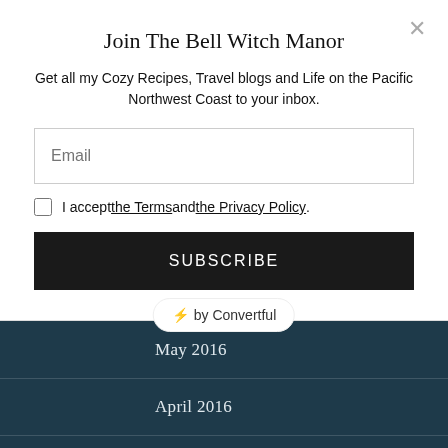Join The Bell Witch Manor
Get all my Cozy Recipes, Travel blogs and Life on the Pacific Northwest Coast to your inbox.
⚡ by Convertful
May 2016
April 2016
March 2016
February 2016
January 2016
December 2015